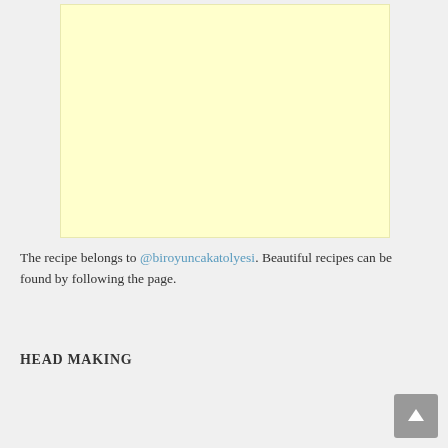[Figure (other): Yellow/cream colored advertisement or placeholder block]
The recipe belongs to @biroyuncakatolyesi. Beautiful recipes can be found by following the page.
HEAD MAKING